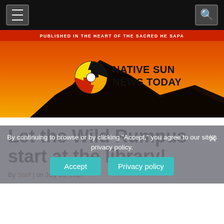Navigation bar with menu and search buttons
[Figure (logo): Native Sun News Today banner logo with orange/red gradient sunset background, mountain silhouette, compass rose logo mark, and text 'NATIVE SUN NEWS TODAY'. Red bar at top reads 'PUBLISHED IN THE HEART OF THE SACRED HE SAPA']
Let the Wild Rumpus start at the library!
By Staff | on July 26, 2017
By continuing to browse or by clicking "Accept," you agree to our site's privacy policy.
Accept   Privacy policy